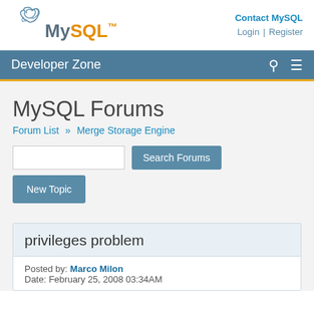MySQL logo | Contact MySQL | Login | Register
Developer Zone
MySQL Forums
Forum List » Merge Storage Engine
Search Forums | New Topic
privileges problem
Posted by: Marco Milon
Date: February 25, 2008 03:34AM